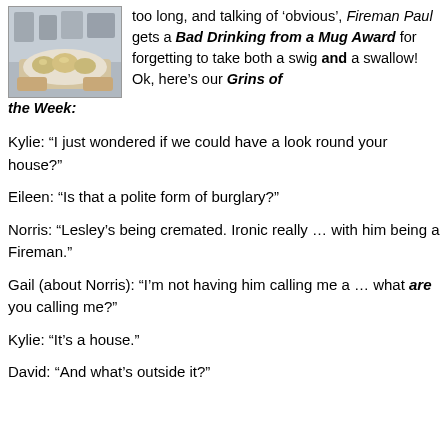[Figure (photo): Person holding a plate of food (appears to be rolls or pastries), photographed from above/side angle.]
too long, and talking of ‘obvious’, Fireman Paul gets a Bad Drinking from a Mug Award for forgetting to take both a swig and a swallow! Ok, here’s our Grins of the Week:
Kylie: “I just wondered if we could have a look round your house?”
Eileen: “Is that a polite form of burglary?”
Norris: “Lesley’s being cremated. Ironic really … with him being a Fireman.”
Gail (about Norris): “I’m not having him calling me a … what are you calling me?”
Kylie: “It’s a house.”
David: “And what’s outside it?”